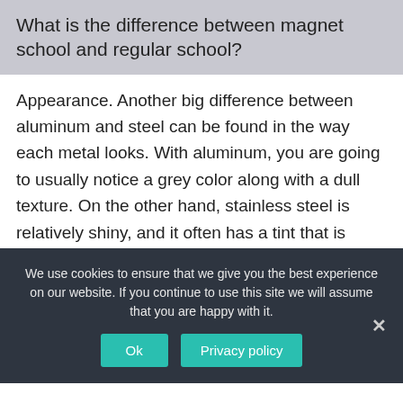What is the difference between magnet school and regular school?
Appearance. Another big difference between aluminum and steel can be found in the way each metal looks. With aluminum, you are going to usually notice a grey color along with a dull texture. On the other hand, stainless steel is relatively shiny, and it often has a tint that is more silver than grey….
Will a magnet stick to 304 stainless steel?
We use cookies to ensure that we give you the best experience on our website. If you continue to use this site we will assume that you are happy with it.